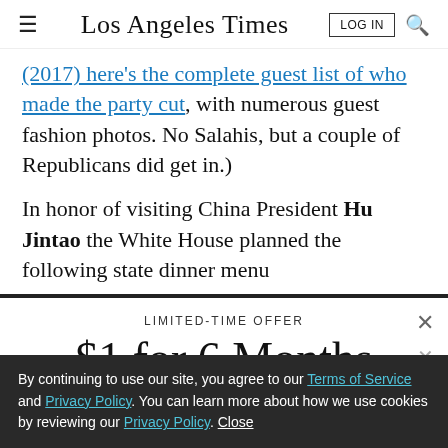Los Angeles Times
(2017) here's the complete guest list of who made the party cut, with numerous guest fashion photos. No Salahis, but a couple of Republicans did get in.)
In honor of visiting China President Hu Jintao the White House planned the following state dinner menu
LIMITED-TIME OFFER
$1 for 6 Months
SUBSCRIBE NOW
By continuing to use our site, you agree to our Terms of Service and Privacy Policy. You can learn more about how we use cookies by reviewing our Privacy Policy. Close